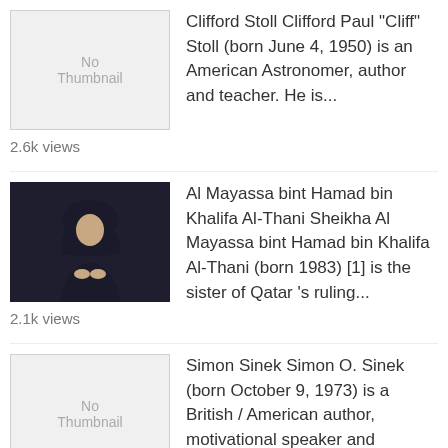[Figure (illustration): No Thumbnail placeholder box for Clifford Stoll]
Clifford Stoll Clifford Paul "Cliff" Stoll (born June 4, 1950) is an American Astronomer, author and teacher. He is...
2.6k views
[Figure (photo): Photo of Al Mayassa bint Hamad bin Khalifa Al-Thani, a woman in dark hijab]
Al Mayassa bint Hamad bin Khalifa Al-Thani Sheikha Al Mayassa bint Hamad bin Khalifa Al-Thani (born 1983) [1] is the sister of Qatar 's ruling...
2.1k views
[Figure (illustration): No Thumbnail placeholder box for Simon Sinek]
Simon Sinek Simon O. Sinek (born October 9, 1973) is a British / American author, motivational speaker and marke...
1.7k views